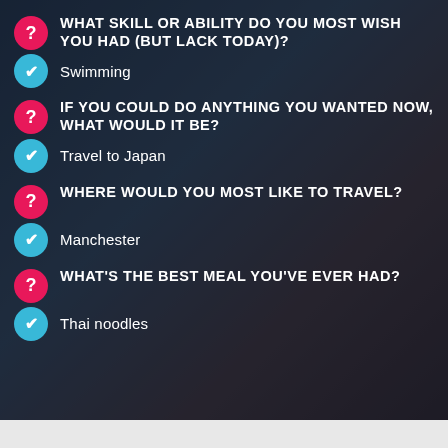Q: WHAT SKILL OR ABILITY DO YOU MOST WISH YOU HAD (BUT LACK TODAY)?
A: Swimming
Q: IF YOU COULD DO ANYTHING YOU WANTED NOW, WHAT WOULD IT BE?
A: Travel to Japan
Q: WHERE WOULD YOU MOST LIKE TO TRAVEL?
A: Manchester
Q: WHAT'S THE BEST MEAL YOU'VE EVER HAD?
A: Thai noodles